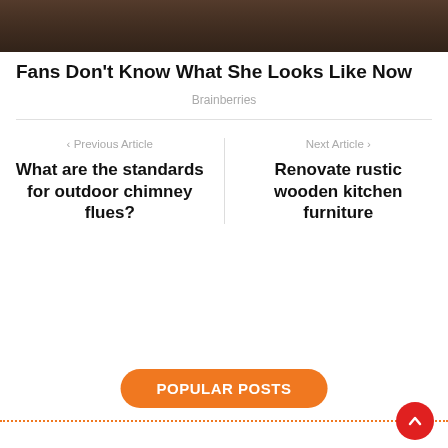[Figure (photo): Cropped photo of a woman with brown hair, partially visible at the top of the page.]
Fans Don't Know What She Looks Like Now
Brainberries
< Previous Article
What are the standards for outdoor chimney flues?
Next Article >
Renovate rustic wooden kitchen furniture
POPULAR POSTS